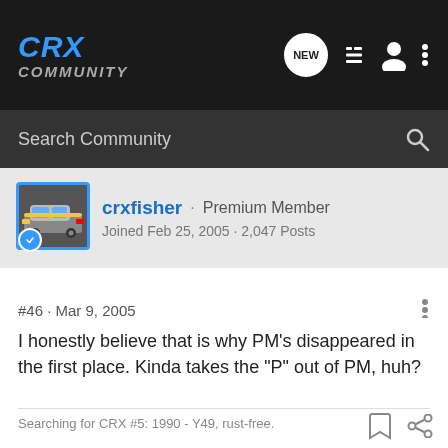CRX Community
Search Community
crxfisher · Premium Member
Joined Feb 25, 2005 · 2,047 Posts
#46 · Mar 9, 2005
I honestly believe that is why PM's disappeared in the first place. Kinda takes the "P" out of PM, huh?
Searching for CRX #5: 1990 - Y49, rust-free.